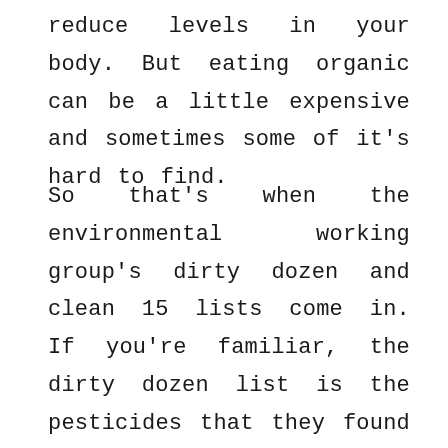reduce levels in your body. But eating organic can be a little expensive and sometimes some of it's hard to find.
So that's when the environmental working group's dirty dozen and clean 15 lists come in. If you're familiar, the dirty dozen list is the pesticides that they found have the most pesticide exposure or the produce that has the most pesticide exposure. And the clean 15 lists are the is the produce that has the least